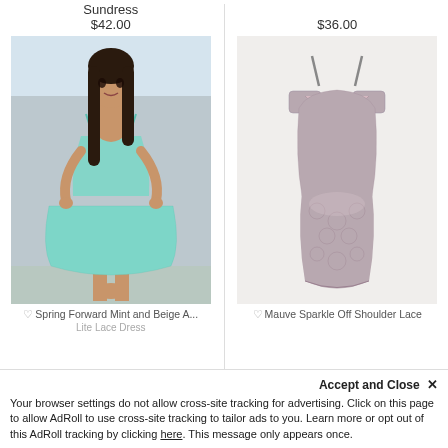Sundress
$42.00
$36.00
[Figure (photo): Woman wearing a mint and beige lace A-line sundress]
[Figure (photo): Mauve sparkle off-shoulder lace bodycon dress on white background]
Spring Forward Mint and Beige A... Lite Lace Dress
Mauve Sparkle Off Shoulder Lace...
Accept and Close ×
Your browser settings do not allow cross-site tracking for advertising. Click on this page to allow AdRoll to use cross-site tracking to tailor ads to you. Learn more or opt out of this AdRoll tracking by clicking here. This message only appears once.